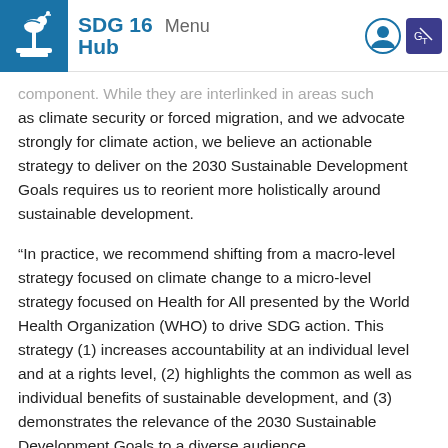SDG 16 Hub   Menu
component. While they are interlinked in areas such as climate security or forced migration, and we advocate strongly for climate action, we believe an actionable strategy to deliver on the 2030 Sustainable Development Goals requires us to reorient more holistically around sustainable development.
“In practice, we recommend shifting from a macro-level strategy focused on climate change to a micro-level strategy focused on Health for All presented by the World Health Organization (WHO) to drive SDG action. This strategy (1) increases accountability at an individual level and at a rights level, (2) highlights the common as well as individual benefits of sustainable development, and (3) demonstrates the relevance of the 2030 Sustainable Development Goals to a diverse audience.
“We draw upon the holistic conception of health